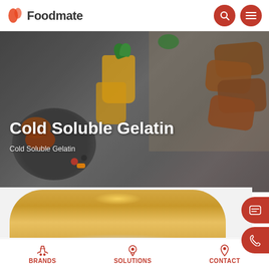Foodmate
[Figure (screenshot): Hero banner image with food items: pancakes with berries, orange juice glasses, and breaded meat patties on a dark background]
Cold Soluble Gelatin
Cold Soluble Gelatin
[Figure (photo): Product photo of white/cream colored fine powder (Cold Soluble Gelatin) in a mound on a warm golden-yellow background]
BRANDS   SOLUTIONS   CONTACT